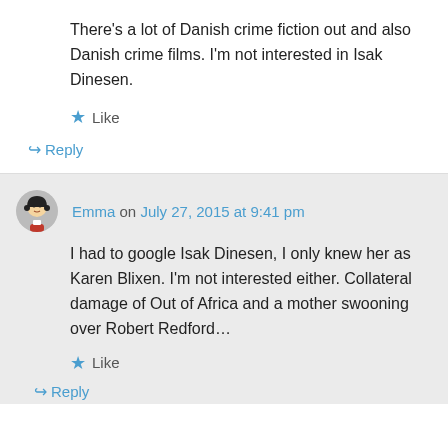There’s a lot of Danish crime fiction out and also Danish crime films. I’m not interested in Isak Dinesen.
★ Like
↳ Reply
Emma on July 27, 2015 at 9:41 pm
I had to google Isak Dinesen, I only knew her as Karen Blixen. I’m not interested either. Collateral damage of Out of Africa and a mother swooning over Robert Redford…
★ Like
↳ Reply